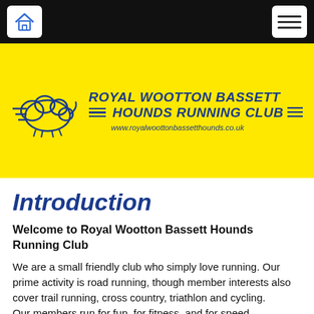[Figure (logo): Royal Wootton Bassett Hounds Running Club logo with running hound cloud graphic and club name in bold italic blue text on yellow background, website www.royalwoottonbassetthounds.co.uk]
Introduction
Welcome to Royal Wootton Bassett Hounds Running Club
We are a small friendly club who simply love running. Our prime activity is road running, though member interests also cover trail running, cross country, triathlon and cycling.
Our members run for fun, for fitness, and for speed. Whenever we run, we run with a smile on our faces.
Why not come and join us? We welcome people of all abilities. We